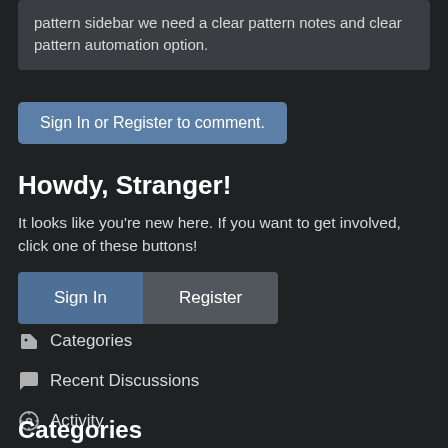pattern sidebar we need a clear pattern notes and clear pattern automation option.
Sign In or Register to comment.
Howdy, Stranger!
It looks like you're new here. If you want to get involved, click one of these buttons!
Sign In
Register
Categories
Recent Discussions
Activity
Categories